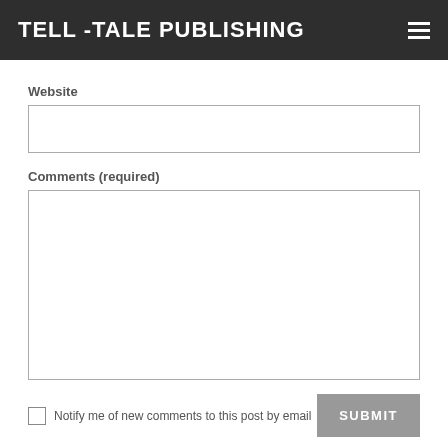TELL -TALE PUBLISHING
Website
Comments (required)
Notify me of new comments to this post by email
SUBMIT